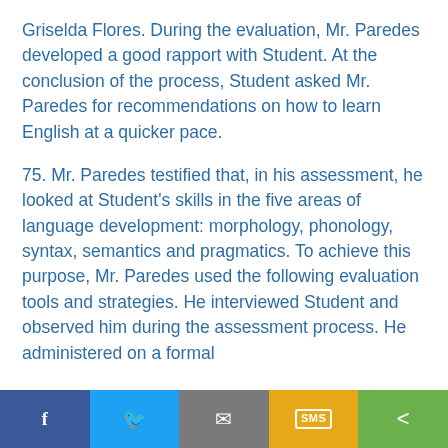Griselda Flores. During the evaluation, Mr. Paredes developed a good rapport with Student. At the conclusion of the process, Student asked Mr. Paredes for recommendations on how to learn English at a quicker pace.
75. Mr. Paredes testified that, in his assessment, he looked at Student's skills in the five areas of language development: morphology, phonology, syntax, semantics and pragmatics. To achieve this purpose, Mr. Paredes used the following evaluation tools and strategies. He interviewed Student and observed him during the assessment process. He administered on a formal